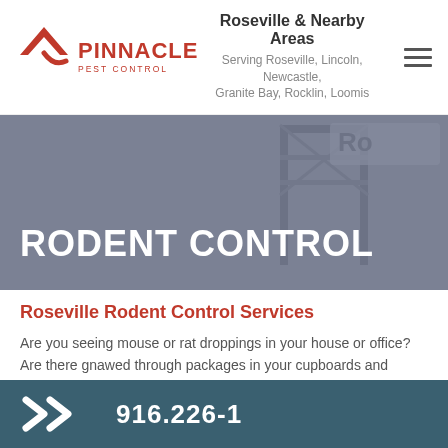[Figure (logo): Pinnacle Pest Control logo with red roof/chevron icon and red text]
Roseville & Nearby Areas
Serving Roseville, Lincoln, Newcastle, Granite Bay, Rocklin, Loomis
[Figure (photo): Black and white photo of a city arch/bridge structure, overlaid with a dark blue-gray semi-transparent banner reading RODENT CONTROL in white uppercase text]
Roseville Rodent Control Services
Are you seeing mouse or rat droppings in your house or office? Are there gnawed through packages in your cupboards and counters? If so, you probably have a rodent problem. Whether it's one mo…
>> 916.226-1…